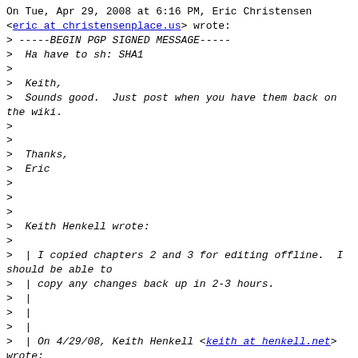On Tue, Apr 29, 2008 at 6:16 PM, Eric Christensen <eric at christensenplace.us> wrote:
> -----BEGIN PGP SIGNED MESSAGE-----
>  Ha have to sh: SHA1
>
>  Keith,
>  Sounds good.  Just post when you have them back on the wiki.
>
>
>  Thanks,
>  Eric
>
>
>
>  Keith Henkell wrote:
>
>  | I copied chapters 2 and 3 for editing offline.  I should be able to
>  | copy any changes back up in 2-3 hours.
>  |
>  |
>  |
>  | On 4/29/08, Keith Henkell <keith at henkell.net> wrote:
>  |> I'll take a look at it tonight.  Is this staying in the wiki for now?
>  |>
>  |>
>  |>
>  |> On 4/29/08, Eric H Christensen <eric at